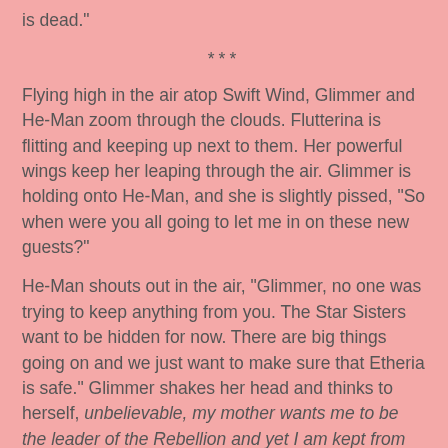is dead."
***
Flying high in the air atop Swift Wind, Glimmer and He-Man zoom through the clouds. Flutterina is flitting and keeping up next to them. Her powerful wings keep her leaping through the air. Glimmer is holding onto He-Man, and she is slightly pissed, "So when were you all going to let me in on these new guests?"
He-Man shouts out in the air, "Glimmer, no one was trying to keep anything from you. The Star Sisters want to be hidden for now. There are big things going on and we just want to make sure that Etheria is safe." Glimmer shakes her head and thinks to herself, unbelievable, my mother wants me to be the leader of the Rebellion and yet I am kept from this new information regarding these Star Sisters. Glimmer shakes her head, bringing her thoughts to the present, "Let's just hope that Frosta is ok." He-Man nods as they continue to fly off towards the Kingdom of Snows.
Upon arrival, the heroes immediately feel something strange